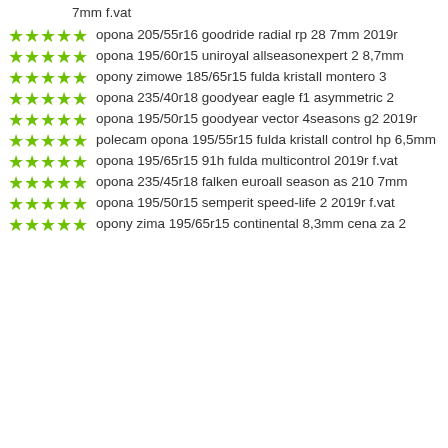7mm f.vat
opona 205/55r16 goodride radial rp 28 7mm 2019r
opona 195/60r15 uniroyal allseasonexpert 2 8,7mm
opony zimowe 185/65r15 fulda kristall montero 3
opona 235/40r18 goodyear eagle f1 asymmetric 2
opona 195/50r15 goodyear vector 4seasons g2 2019r
polecam opona 195/55r15 fulda kristall control hp 6,5mm
opona 195/65r15 91h fulda multicontrol 2019r f.vat
opona 235/45r18 falken euroall season as 210 7mm
opona 195/50r15 semperit speed-life 2 2019r f.vat
opony zima 195/65r15 continental 8,3mm cena za 2